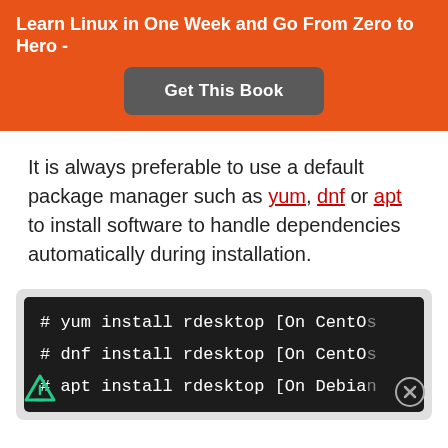Learn Linux in One Week and Go From Zero to Hero -
Get This Book
It is always preferable to use a default package manager such as yum, dnf or apt to install software to handle dependencies automatically during installation.
[Figure (screenshot): Terminal code block showing three commands: # yum install rdesktop [On CentOS], # dnf install rdesktop [On CentOS], # apt install rdesktop [On Debian]]